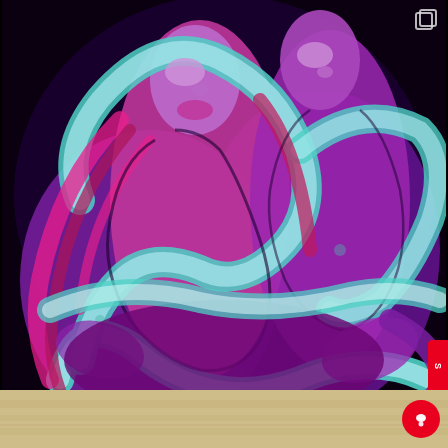[Figure (illustration): Digital illustration of two intertwined female figures in vivid purple and magenta tones, with a large teal and white snake coiling around them. The figures have flowing hair against a dark background. Vibrant neon colors with comic/tattoo art style.]
[Figure (photo): Partial lower image showing a beige/sandy toned background with faint landscape content, only partially visible at the bottom of the page.]